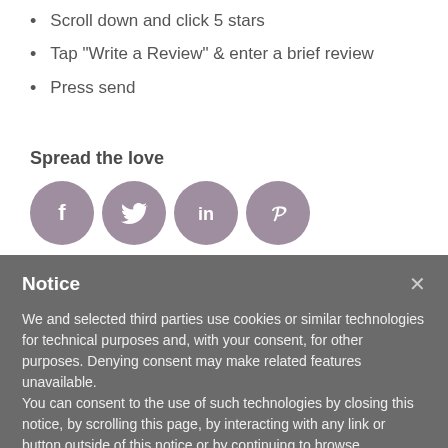Scroll down and click 5 stars
Tap "Write a Review" & enter a brief review
Press send
Spread the love
[Figure (infographic): Four social media icons (Facebook, Twitter, LinkedIn, Pinterest) as purple circles]
Notice
We and selected third parties use cookies or similar technologies for technical purposes and, with your consent, for other purposes. Denying consent may make related features unavailable.
You can consent to the use of such technologies by closing this notice, by scrolling this page, by interacting with any link or button outside of this notice or by continuing to browse otherwise.